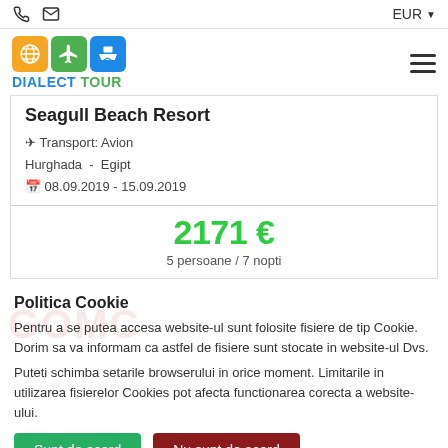EUR
[Figure (logo): Dialect Tour logo with orange globe icon, green airplane icon, blue cruise ship icon, and text DIALECT TOUR]
Seagull Beach Resort
✈ Transport: Avion
Hurghada - Egipt
📅 08.09.2019 - 15.09.2019
2171 €
5 persoane / 7 nopti
Politica Cookie
Pentru a se putea accesa website-ul sunt folosite fisiere de tip Cookie. Dorim sa va informam ca astfel de fisiere sunt stocate in website-ul Dvs.
Puteti schimba setarile browserului in orice moment. Limitarile in utilizarea fisierelor Cookies pot afecta functionarea corecta a website-ului.
Sunt de acord    Nu sunt de acord